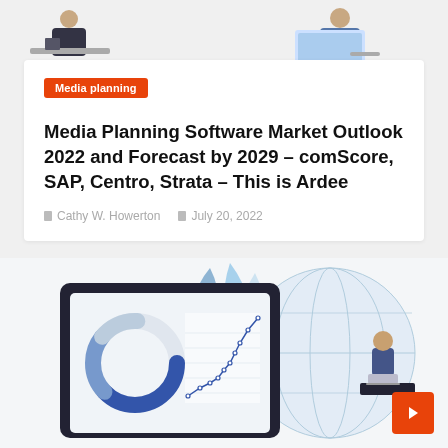[Figure (illustration): Top decorative illustration showing people working at desks with computers, partial view cut at top of page]
Media planning
Media Planning Software Market Outlook 2022 and Forecast by 2029 – comScore, SAP, Centro, Strata – This is Ardee
Cathy W. Howerton   July 20, 2022
[Figure (illustration): Bottom decorative illustration showing a tablet with donut chart and line chart, a globe, leaf decorations, and a person sitting with a laptop]